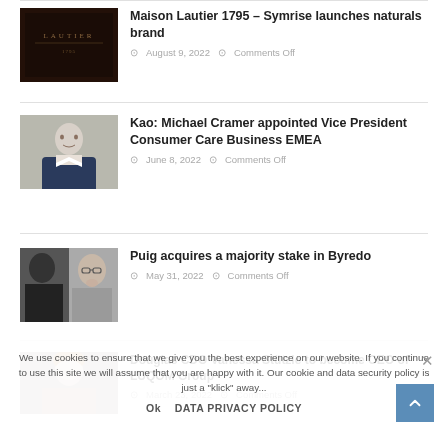[Figure (photo): Dark background with 'LAUTIER' text logo — product packaging]
Maison Lautier 1795 – Symrise launches naturals brand
August 9, 2022  Comments Off
[Figure (photo): Professional headshot of Michael Cramer in a suit]
Kao: Michael Cramer appointed Vice President Consumer Care Business EMEA
June 8, 2022  Comments Off
[Figure (photo): Two people — Byredo founder and another person]
Puig acquires a majority stake in Byredo
May 31, 2022  Comments Off
[Figure (photo): Woman portrait — Vanessa Stützle]
Douglas CDO Vanessa Stützle to become CEO of LUQOM Group
March 23, 2022  Comments Off
We use cookies to ensure that we give you the best experience on our website. If you continue to use this site we will assume that you are happy with it. Our cookie and data security policy is just a "klick" away...
Ok   DATA PRIVACY POLICY